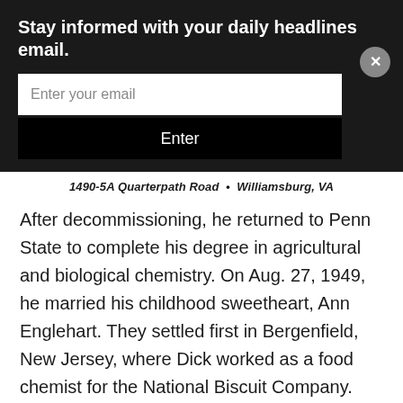Stay informed with your daily headlines email.
1490-5A Quarterpath Road  •  Williamsburg, VA
After decommissioning, he returned to Penn State to complete his degree in agricultural and biological chemistry. On Aug. 27, 1949, he married his childhood sweetheart, Ann Englehart. They settled first in Bergenfield, New Jersey, where Dick worked as a food chemist for the National Biscuit Company. Just before their first son, Douglas, was born in 1952, they relocated back